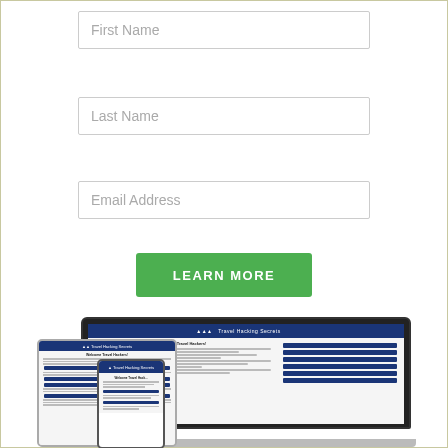[Figure (screenshot): Web form with First Name, Last Name, Email Address input fields and a green LEARN MORE button, above a screenshot of a website shown on laptop, tablet, and phone devices displaying 'Travel Hacking Secrets']
First Name
Last Name
Email Address
LEARN MORE
[Figure (screenshot): Laptop, tablet, and phone displaying the Travel Hacking Secrets website with a dark blue navigation bar and welcome message 'Welcome Travel Hackers!']